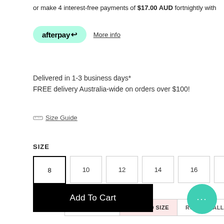or make 4 interest-free payments of $17.00 AUD fortnightly with
[Figure (logo): Afterpay logo badge in mint green rounded rectangle with 'afterpay' text and arrow icon, followed by 'More info' underlined link]
Delivered in 1-3 business days*
FREE delivery Australia-wide on orders over $100!
Size Guide
SIZE
Size buttons: 8 (selected), 10, 12, 14, 16, 18
Size Tip   RUNS LARGE   TRUE TO SIZE   RUNS SMALL
Add To Cart